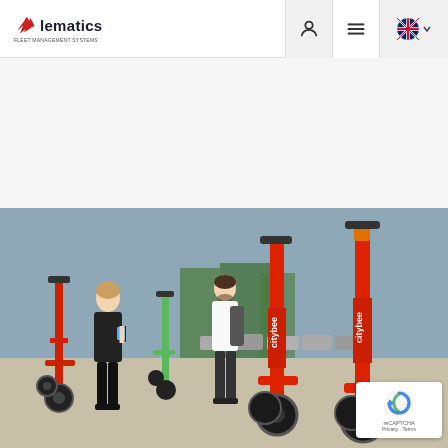[Figure (logo): Lematics fleet management systems logo with red arrow and dark text]
[Figure (screenshot): Navigation bar icons: user account icon, hamburger menu icon, UK flag language selector with dropdown arrow]
[Figure (photo): People riding and standing with red CityBee branded electric scooters in an outdoor plaza with trees and parked cars in the background]
[Figure (other): Google reCAPTCHA badge with Privacy and Terms links]